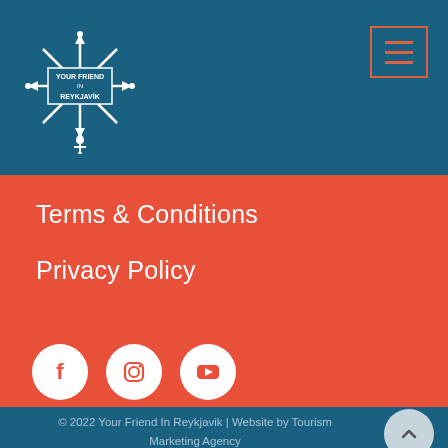[Figure (logo): Your Friend In Reykjavik logo - compass/snowflake design in white on teal background]
Terms & Conditions
Privacy Policy
[Figure (illustration): Three social media icons: Facebook, Instagram, YouTube - white circles on red background]
© 2022 Your Friend In Reykjavik | Website by Tourism Marketing Agency